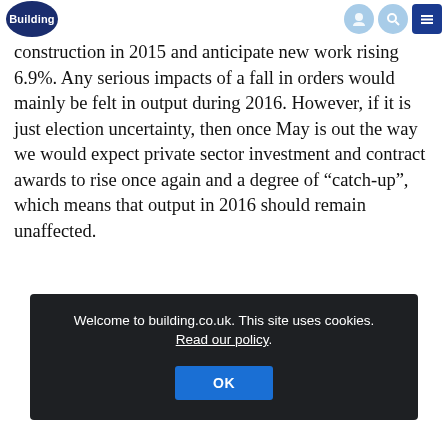Building [logo] [navigation icons]
construction in 2015 and anticipate new work rising 6.9%. Any serious impacts of a fall in orders would mainly be felt in output during 2016. However, if it is just election uncertainty, then once May is out the way we would expect private sector investment and contract awards to rise once again and a degree of “catch-up”, which means that output in 2016 should remain unaffected.
Welcome to building.co.uk. This site uses cookies. Read our policy.
OK